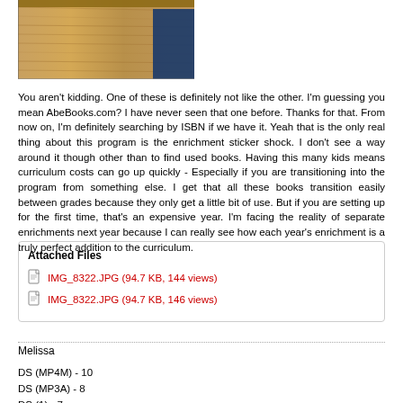[Figure (photo): Partial photo of a wooden desk surface with a dark blue element, top portion only visible]
You aren't kidding. One of these is definitely not like the other. I'm guessing you mean AbeBooks.com? I have never seen that one before. Thanks for that. From now on, I'm definitely searching by ISBN if we have it. Yeah that is the only real thing about this program is the enrichment sticker shock. I don't see a way around it though other than to find used books. Having this many kids means curriculum costs can go up quickly - Especially if you are transitioning into the program from something else. I get that all these books transition easily between grades because they only get a little bit of use. But if you are setting up for the first time, that's an expensive year. I'm facing the reality of separate enrichments next year because I can really see how each year's enrichment is a truly perfect addition to the curriculum.
Attached Files
IMG_8322.JPG (94.7 KB, 144 views)
IMG_8322.JPG (94.7 KB, 146 views)
Melissa
DS (MP4M) - 10
DS (MP3A) - 8
DS (1) - 7
DD (1) - ...